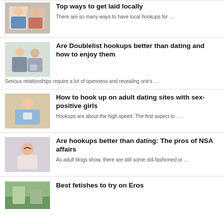[Figure (photo): Two young women together, one in overalls]
Top ways to get laid locally
There are so many ways to have local hookups for …
[Figure (photo): Two women looking at a phone/tablet together]
Are Doublelist hookups better than dating and how to enjoy them
Serious relationships require a lot of openness and revealing one's …
[Figure (photo): Person holding a phone, wearing blue top]
How to hook up on adult dating sites with sex-positive girls
Hookups are about the high speed. The first aspect to …
[Figure (photo): Woman with hand in hair, light background]
Are hookups better than dating: The pros of NSA affairs
As adult blogs show, there are still some old-fashioned or …
[Figure (photo): Outdoor scene, green background]
Best fetishes to try on Eros